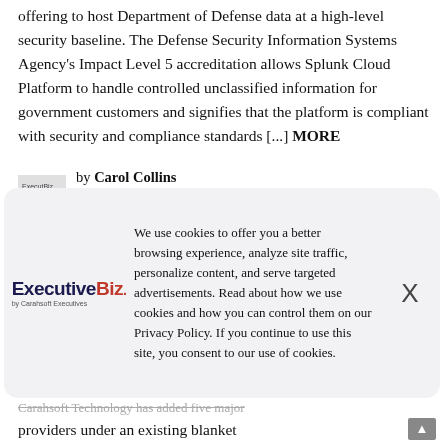offering to host Department of Defense data at a high-level security baseline. The Defense Security Information Systems Agency's Impact Level 5 accreditation allows Splunk Cloud Platform to handle controlled unclassified information for government customers and signifies that the platform is compliant with security and compliance standards [...] MORE
by Carol Collins
September 3, 2021, 11:24 am
We use cookies to offer you a better browsing experience, analyze site traffic, personalize content, and serve targeted advertisements. Read about how we use cookies and how you can control them on our Privacy Policy. If you continue to use this site, you consent to our use of cookies.
Carahsoft Technology has added five major providers under an existing blanket